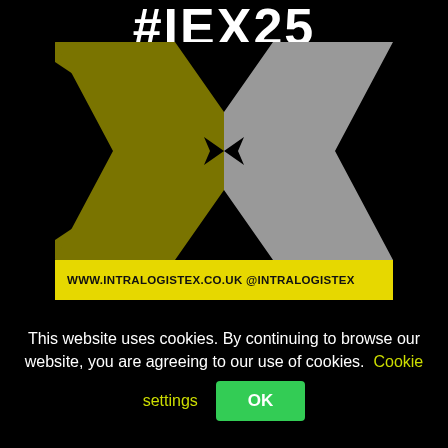[Figure (logo): Intralogistex event logo featuring a large X shape made of olive/yellow and grey triangles on a black background, with #IEX25 text banner at top and yellow URL banner at bottom reading WWW.INTRALOGISTEX.CO.UK @INTRALOGISTEX]
FREE WEEKLY E-NEWSLETTER
This website uses cookies. By continuing to browse our website, you are agreeing to our use of cookies. Cookie settings
OK